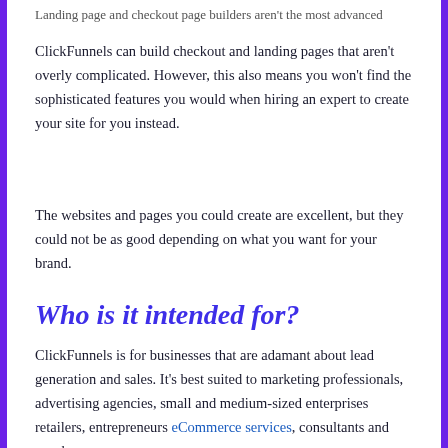Landing page and checkout page builders aren't the most advanced
ClickFunnels can build checkout and landing pages that aren't overly complicated. However, this also means you won't find the sophisticated features you would when hiring an expert to create your site for you instead.
The websites and pages you could create are excellent, but they could not be as good depending on what you want for your brand.
Who is it intended for?
ClickFunnels is for businesses that are adamant about lead generation and sales. It's best suited to marketing professionals, advertising agencies, small and medium-sized enterprises retailers, entrepreneurs eCommerce services, consultants and coaches.